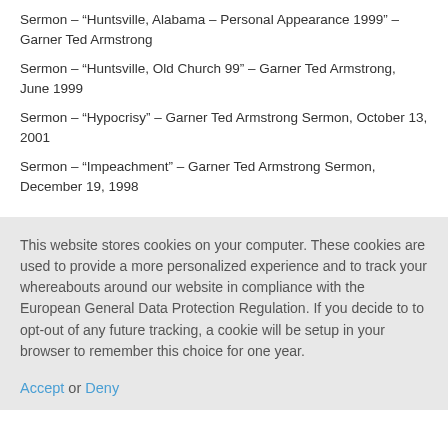Sermon – “Huntsville, Alabama – Personal Appearance 1999” – Garner Ted Armstrong
Sermon – “Huntsville, Old Church 99” – Garner Ted Armstrong, June 1999
Sermon – “Hypocrisy” – Garner Ted Armstrong Sermon, October 13, 2001
Sermon – “Impeachment” – Garner Ted Armstrong Sermon, December 19, 1998
This website stores cookies on your computer. These cookies are used to provide a more personalized experience and to track your whereabouts around our website in compliance with the European General Data Protection Regulation. If you decide to to opt-out of any future tracking, a cookie will be setup in your browser to remember this choice for one year.
Accept or Deny